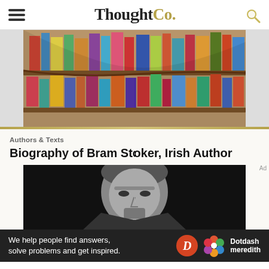ThoughtCo.
[Figure (photo): A curved bookshelf filled with colorful books of various colors and sizes, viewed from the side.]
Authors & Texts
Biography of Bram Stoker, Irish Author
[Figure (photo): Black and white portrait photograph of Bram Stoker.]
We help people find answers, solve problems and get inspired.
[Figure (logo): Dotdash Meredith logo with colorful flower icon and D circle.]